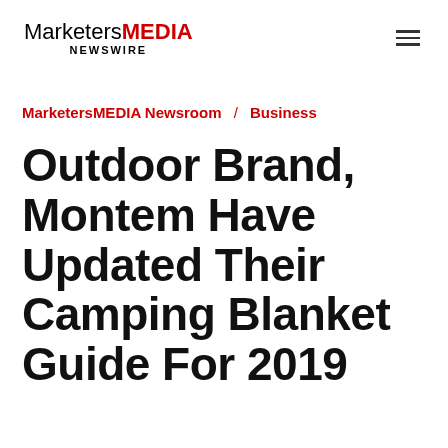MarketersMEDIA NEWSWIRE
MarketersMEDIA Newsroom / Business
Outdoor Brand, Montem Have Updated Their Camping Blanket Guide For 2019